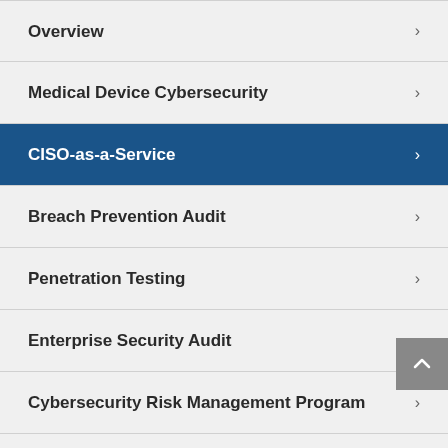Overview
Medical Device Cybersecurity
CISO-as-a-Service
Breach Prevention Audit
Penetration Testing
Enterprise Security Audit
Cybersecurity Risk Management Program